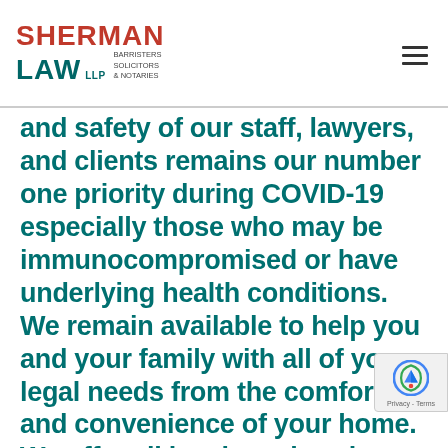SHERMAN LAW LLP BARRISTERS SOLICITORS & NOTARIES
and safety of our staff, lawyers, and clients remains our number one priority during COVID-19 especially those who may be immunocompromised or have underlying health conditions. We remain available to help you and your family with all of your legal needs from the comfort and convenience of your home. We offer all legal services by Zoom video conference, teleconference, and in-person attendance with safety protocols in place. Our lawyers and staff have been fully vaccinated including a booster. We know COVID-19 vaccinations are critical to red the likelihood of serious illness and help h...